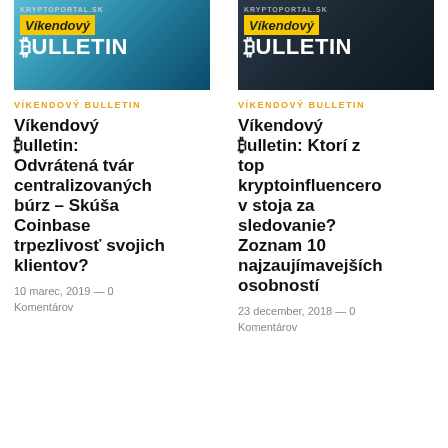[Figure (illustration): KryptoPortal.sk Víkendový Bulletin banner with blue/teal background and camera imagery]
[Figure (illustration): KryptoPortal.sk Víkendový Bulletin banner with dark background]
VÍKENDOVÝ BULLETIN
VÍKENDOVÝ BULLETIN
Víkendový ₿ulletin: Odvrátená tvár centralizovaných búrz – Skúša Coinbase trpezlivosť svojich klientov?
Víkendový ₿ulletin: Ktorí z top kryptoinfluencerov stoja za sledovanie? Zoznam 10 najzaujímavejších osobností
10 marec, 2019 — 0 Komentárov
23 december, 2018 — 0 Komentárov